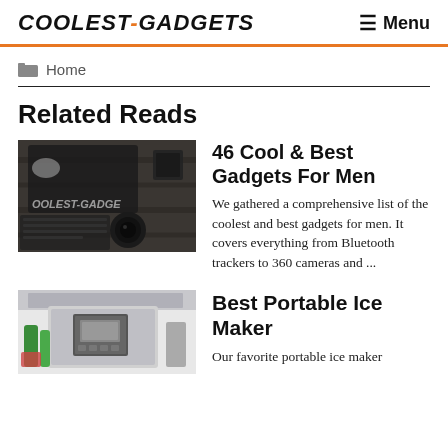COOLEST-GADGETS   ☰ Menu
Home
Related Reads
[Figure (photo): Dark flatlay of gadgets including laptop, camera lens, and accessories with COOLEST-GADGETS watermark]
46 Cool & Best Gadgets For Men
We gathered a comprehensive list of the coolest and best gadgets for men. It covers everything from Bluetooth trackers to 360 cameras and ...
[Figure (photo): Portable ice maker appliance with green bottles and items inside, bright background]
Best Portable Ice Maker
Our favorite portable ice maker